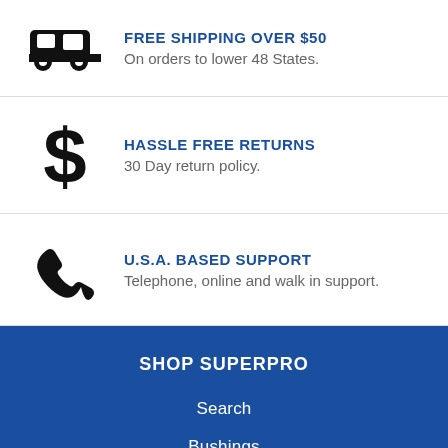FREE SHIPPING OVER $50 — On orders to lower 48 States.
HASSLE FREE RETURNS — 30 Day return policy.
U.S.A. BASED SUPPORT — Telephone, online and walk in support.
SHOP SUPERPRO
Search
Bushings
Sway Bars